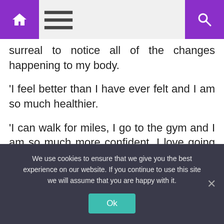[Figure (screenshot): Website navigation bar with purple home icon on left, hamburger menu icon, and purple search icon on right]
surreal to notice all of the changes happening to my body.
‘I feel better than I have ever felt and I am so much healthier.
‘I can walk for miles, I go to the gym and I am so much more confident. I love going out and getting dressed up with my friends now.
We use cookies to ensure that we give you the best experience on our website. If you continue to use this site we will assume that you are happy with it.